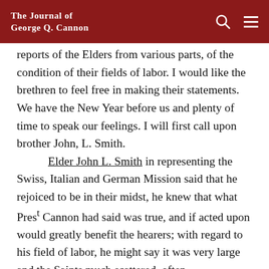The Journal of George Q. Cannon
reports of the Elders from various parts, of the condition of their fields of labor. I would like the brethren to feel free in making their statements. We have the New Year before us and plenty of time to speak our feelings. I will first call upon brother John, L. Smith.
	Elder John L. Smith in representing the Swiss, Italian and German Mission said that he rejoiced to be in their midst, he knew that what Prest Cannon had said was true, and if acted upon would greatly benefit the hearers; with regard to his field of labor, he might say it was very large and the Saints much scattered, often finding it impossible to visit them as often